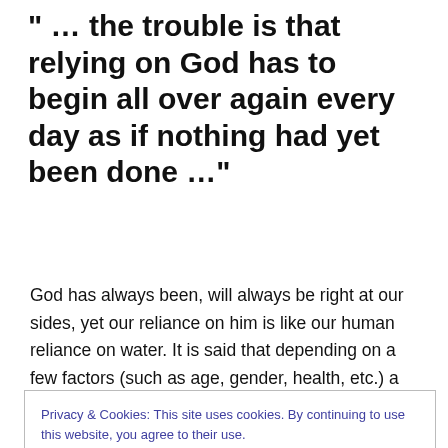" … the trouble is that relying on God has to begin all over again every day as if nothing had yet been done …"
God has always been, will always be right at our sides, yet our reliance on him is like our human reliance on water. It is said that depending on a few factors (such as age, gender, health, etc.) a human can live only about three days without water. Our very life is dependent on it. For the sake of our very life, we must have water.
Privacy & Cookies: This site uses cookies. By continuing to use this website, you agree to their use. To find out more, including how to control cookies, see here: Cookie Policy
Close and accept